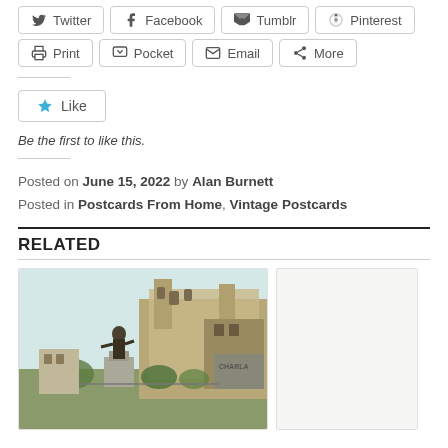[Figure (other): Social share buttons row 1: Twitter, Facebook, Tumblr, Pinterest]
[Figure (other): Social share buttons row 2: Print, Pocket, Email, More]
[Figure (other): Like button widget]
Be the first to like this.
Posted on June 15, 2022 by Alan Burnett
Posted in Postcards From Home, Vintage Postcards
RELATED
[Figure (photo): Vintage postcard showing a statue of a standing figure on a pedestal, with a large cathedral or church building in the background and other buildings to the right. The partial text CHARLA is visible on a building.]